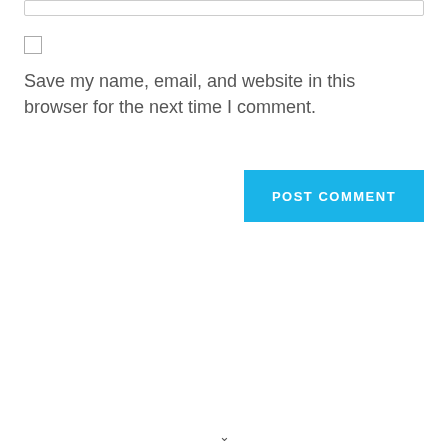[Figure (screenshot): A text input field (form element) shown at top of page — a horizontal bordered box]
[Figure (screenshot): A checkbox (unchecked square) UI element]
Save my name, email, and website in this browser for the next time I comment.
[Figure (screenshot): A blue 'POST COMMENT' button]
[Figure (other): A small downward chevron/caret symbol at the bottom center of the page]